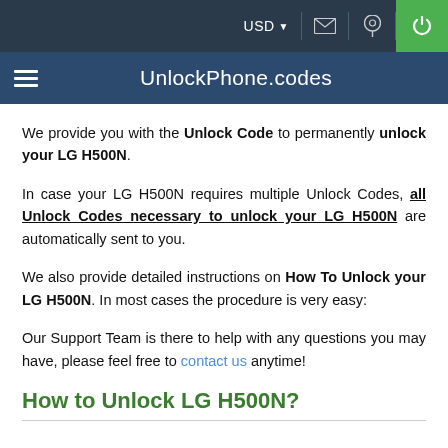USD | [envelope icon] | [location icon] | [power icon]
≡  UnlockPhone.codes
We provide you with the Unlock Code to permanently unlock your LG H500N.
In case your LG H500N requires multiple Unlock Codes, all Unlock Codes necessary to unlock your LG H500N are automatically sent to you.
We also provide detailed instructions on How To Unlock your LG H500N. In most cases the procedure is very easy:
Our Support Team is there to help with any questions you may have, please feel free to contact us anytime!
How to Unlock LG H500N?